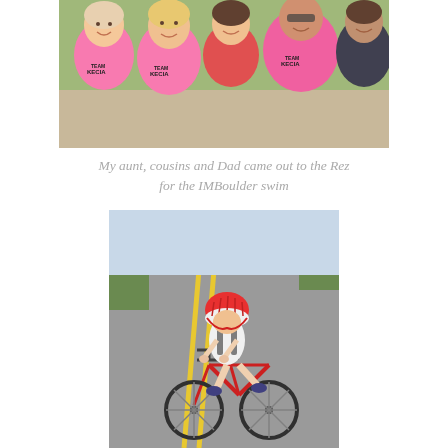[Figure (photo): Group photo of people wearing pink Team Kecia shirts smiling together outdoors]
My aunt, cousins and Dad came out to the Rez for the IMBoulder swim
[Figure (photo): Cyclist in aerodynamic position riding a red triathlon bike on a road, wearing a helmet and sunglasses]